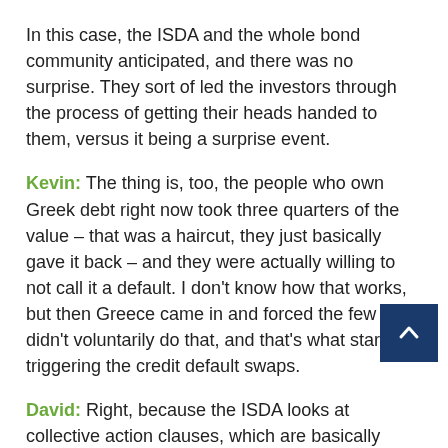In this case, the ISDA and the whole bond community anticipated, and there was no surprise. They sort of led the investors through the process of getting their heads handed to them, versus it being a surprise event.
Kevin: The thing is, too, the people who own Greek debt right now took three quarters of the value – that was a haircut, they just basically gave it back – and they were actually willing to not call it a default. I don't know how that works, but then Greece came in and forced the few who didn't voluntarily do that, and that's what started triggering the credit default swaps.
David: Right, because the ISDA looks at collective action clauses, which are basically forcing the hand of minority owners into an action that is not volitional and that is